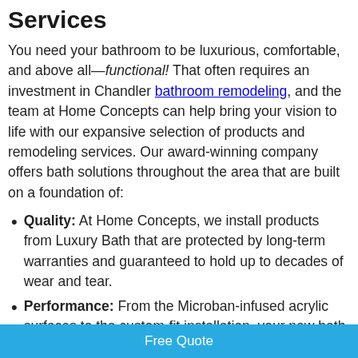Services
You need your bathroom to be luxurious, comfortable, and above all—functional! That often requires an investment in Chandler bathroom remodeling, and the team at Home Concepts can help bring your vision to life with our expansive selection of products and remodeling services. Our award-winning company offers bath solutions throughout the area that are built on a foundation of:
Quality: At Home Concepts, we install products from Luxury Bath that are protected by long-term warranties and guaranteed to hold up to decades of wear and tear.
Performance: From the Microban-infused acrylic surfaces to the custom-fit installation, your new bath feature will offer easy upkeep and long-term quality.
Free Quote